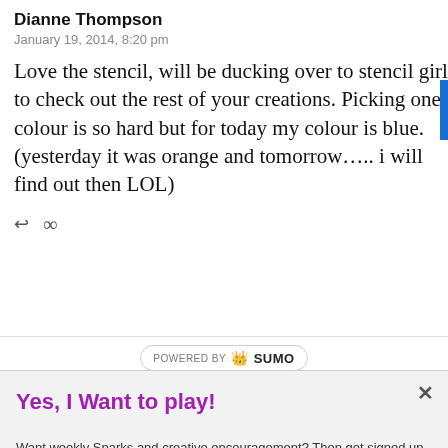Dianne Thompson
January 19, 2014, 8:20 pm
Love the stencil, will be ducking over to stencil girl to check out the rest of your creations. Picking one colour is so hard but for today my colour is blue. (yesterday it was orange and tomorrow….. i will find out then LOL)
[Figure (other): Reply and infinity icons row]
[Figure (logo): POWERED BY SUMO badge]
Yes, I Want to play!
Want weekly Sparks and creative encouragement? Then get signed up for my newsletter!
Enter your Email
Send me the newsletter!
Yes, I would like you to send me a newsletter.